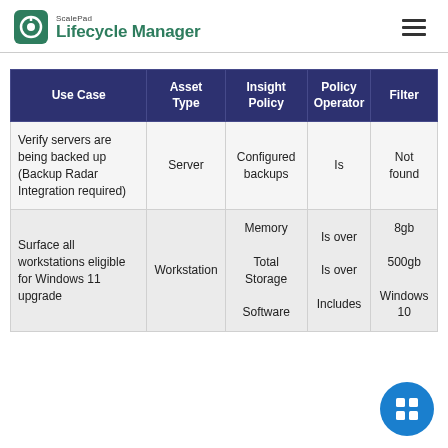ScalePad Lifecycle Manager
| Use Case | Asset Type | Insight Policy | Policy Operator | Filter |
| --- | --- | --- | --- | --- |
| Verify servers are being backed up (Backup Radar Integration required) | Server | Configured backups | Is | Not found |
| Surface all workstations eligible for Windows 11 upgrade | Workstation | Memory

Total Storage

Software | Is over

Is over

Includes | 8gb

[b]b

ows 10 |